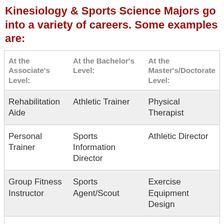Kinesiology & Sports Science Majors go into a variety of careers. Some examples are:
| At the Associate's Level: | At the Bachelor's Level: | At the Master's/Doctorate Level: |
| --- | --- | --- |
| Rehabilitation Aide | Athletic Trainer | Physical Therapist |
| Personal Trainer | Sports Information Director | Athletic Director |
| Group Fitness Instructor | Sports Agent/Scout | Exercise Equipment Design |
| Prep for Massage Therapist | K-12 Athletic Director | Sports Psychologist |